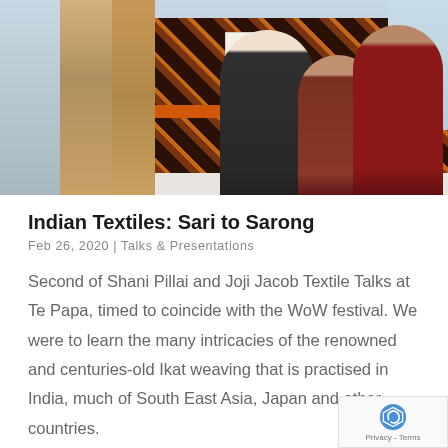[Figure (photo): Three people posing in front of patterned Indian textiles/fabrics on display. Two textile garments visible on the left, a large patterned ikat textile hanging in the background, with label cards attached. A window is visible on the right side.]
Indian Textiles: Sari to Sarong
Feb 26, 2020 | Talks & Presentations
Second of Shani Pillai and Joji Jacob Textile Talks at Te Papa, timed to coincide with the WoW festival. We were to learn the many intricacies of the renowned and centuries-old Ikat weaving that is practised in India, much of South East Asia, Japan and other countries.